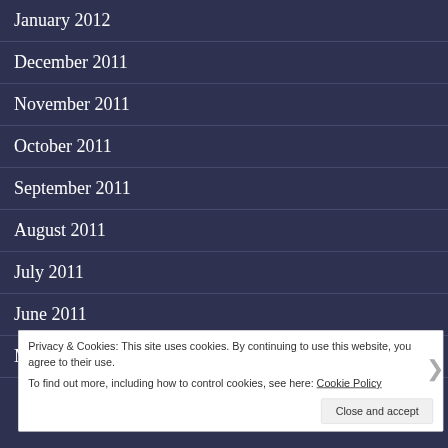January 2012
December 2011
November 2011
October 2011
September 2011
August 2011
July 2011
June 2011
May 2011
Privacy & Cookies: This site uses cookies. By continuing to use this website, you agree to their use.
To find out more, including how to control cookies, see here: Cookie Policy
Close and accept